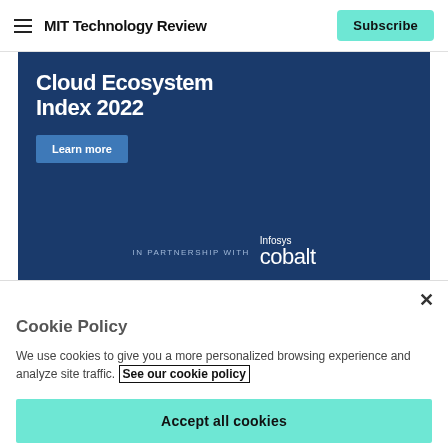MIT Technology Review
[Figure (screenshot): Advertisement banner for Cloud Ecosystem Index 2022 by Infosys Cobalt on a dark blue background with a 'Learn more' button and 'IN PARTNERSHIP WITH Infosys cobalt' branding at the bottom.]
Cookie Policy
We use cookies to give you a more personalized browsing experience and analyze site traffic. See our cookie policy
Accept all cookies
Cookies settings